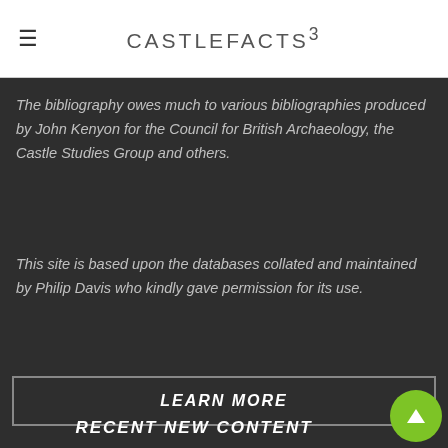CASTLEFACTS³
The bibliography owes much to various bibliographies produced by John Kenyon for the Council for British Archaeology, the Castle Studies Group and others.
This site is based upon the databases collated and maintained by Philip Davis who kindly gave permission for its use.
LEARN MORE
RECENT NEW CONTENT